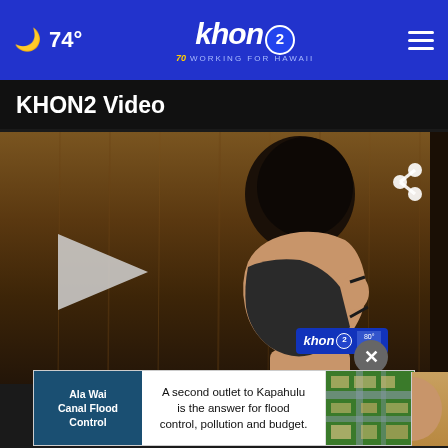74° | khon2 WORKING FOR HAWAII | ≡
KHON2 Video
[Figure (screenshot): Video thumbnail showing a masked man in a blue checkered shirt standing in profile inside a courtroom with wooden paneling. A play button is visible on the left. A share icon appears top right. The KHON2 logo watermark appears at bottom right with time 80° 10:00.]
[Figure (screenshot): Advertisement banner: Ala Wai Canal Flood Control — 'A second outlet to Kapahulu is the answer for flood control, pollution and budget.' with an aerial map image on the right side.]